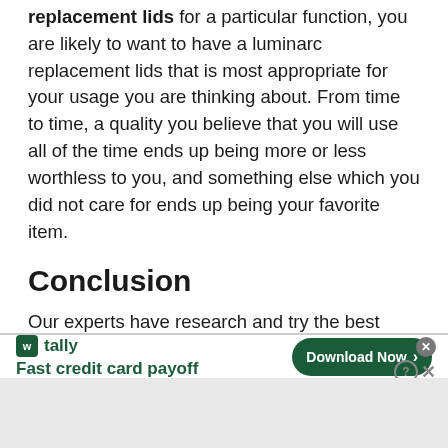replacement lids for a particular function, you are likely to want to have a luminarc replacement lids that is most appropriate for your usage you are thinking about. From time to time, a quality you believe that you will use all of the time ends up being more or less worthless to you, and something else which you did not care for ends up being your favorite item.
Conclusion
Our experts have research and try the best luminarc replacement lids you are looking
[Figure (other): Advertisement banner for Tally app. Shows Tally logo with green icon, tagline 'Fast credit card payoff', and a green 'Download Now' button with arrow. Has close/help icons in top right.]